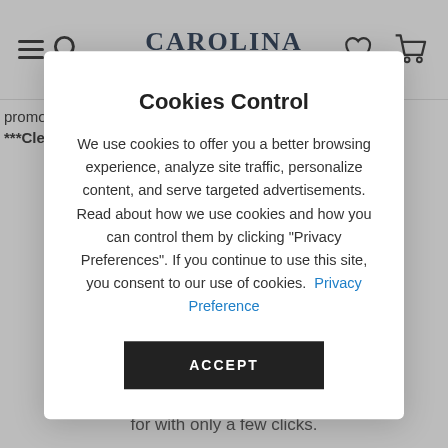Carolina Rustica - navigation bar with hamburger menu, search, logo, heart/wishlist, and cart icons
promotion offer.
***Clearance items do not qualify for financing.
[Figure (screenshot): Blue 'APPLY NOW' button, partially visible]
Cookies Control
We use cookies to offer you a better browsing experience, analyze site traffic, personalize content, and serve targeted advertisements. Read about how we use cookies and how you can control them by clicking "Privacy Preferences". If you continue to use this site, you consent to our use of cookies.  Privacy Preference
ACCEPT
for with only a few clicks.